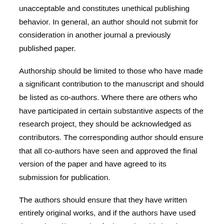unacceptable and constitutes unethical publishing behavior. In general, an author should not submit for consideration in another journal a previously published paper.
Authorship should be limited to those who have made a significant contribution to the manuscript and should be listed as co-authors. Where there are others who have participated in certain substantive aspects of the research project, they should be acknowledged as contributors. The corresponding author should ensure that all co-authors have seen and approved the final version of the paper and have agreed to its submission for publication.
The authors should ensure that they have written entirely original works, and if the authors have used the work and/or words of others, that this has been appropriately cited or quoted. Plagiarism are include passing off another paper as the author own paper, copying or paraphrasing substantial parts of another paper (without attribution) and claiming results from research conducted by others.
Plagiarism constitutes unethical publishing behavior and is